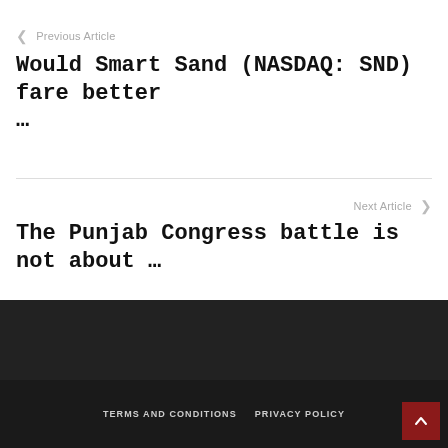← Previous Article
Would Smart Sand (NASDAQ: SND) fare better ...
Next Article →
The Punjab Congress battle is not about ...
TERMS AND CONDITIONS   PRIVACY POLICY